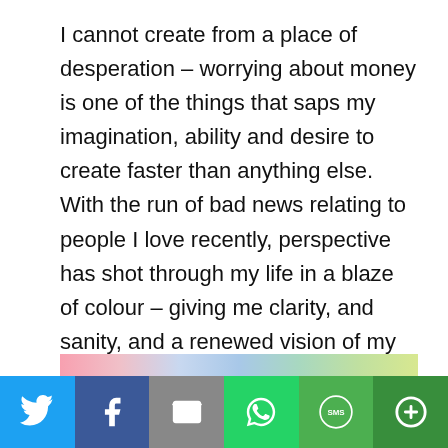I cannot create from a place of desperation – worrying about money is one of the things that saps my imagination, ability and desire to create faster than anything else. With the run of bad news relating to people I love recently, perspective has shot through my life in a blaze of colour – giving me clarity, and sanity, and a renewed vision of my WHY.
[Figure (illustration): Colorful rainbow gradient strip]
[Figure (infographic): Social sharing bar with Twitter, Facebook, Email, WhatsApp, SMS, and More buttons]